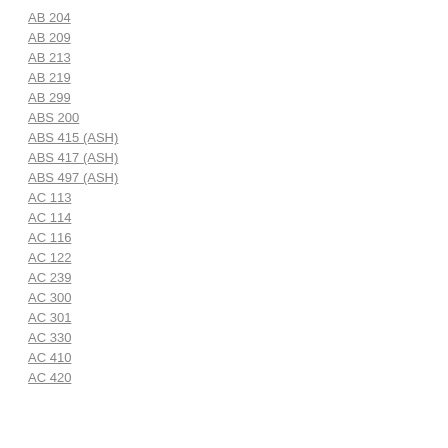AB 204
AB 209
AB 213
AB 219
AB 299
ABS 200
ABS 415 (ASH)
ABS 417 (ASH)
ABS 497 (ASH)
AC 113
AC 114
AC 116
AC 122
AC 239
AC 300
AC 301
AC 330
AC 410
AC 420